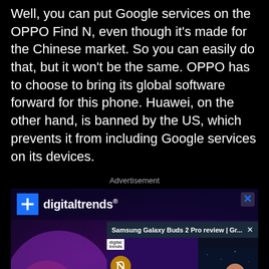Well, you can put Google services on the OPPO Find N, even though it's made for the Chinese market. So you can easily do that, but it won't be the same. OPPO has to choose to bring its global software forward for this phone. Huawei, on the other hand, is banned by the US, which prevents it from including Google services on its devices.
Advertisement
[Figure (screenshot): Advertisement screenshot showing a Digital Trends ad with 'All cross platform' text and a Samsung Galaxy Buds 2 Pro review video pip overlay with a person holding earbuds. The Digital Trends logo is visible with a blue box and plus icon.]